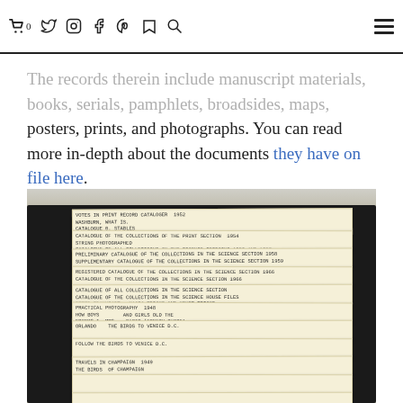0 [cart] [twitter] [instagram] [facebook] [pinterest] [readlist] [search]  [menu]
The records therein include manuscript materials, books, serials, pamphlets, broadsides, maps, posters, prints, and photographs. You can read more in-depth about the documents they have on file here.
[Figure (photo): Photograph of a box of vintage card catalog index cards fanned out, with handwritten titles visible on the tabs of each card. Cards are cream/yellow colored with handwritten text in block letters.]